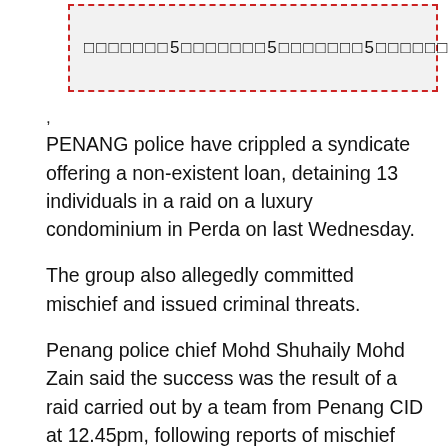[Figure (other): Search box with dashed red border containing repeated text with squares and number 5 pattern]
,
PENANG police have crippled a syndicate offering a non-existent loan, detaining 13 individuals in a raid on a luxury condominium in Perda on last Wednesday.
The group also allegedly committed mischief and issued criminal threats.
Penang police chief Mohd Shuhaily Mohd Zain said the success was the result of a raid carried out by a team from Penang CID at 12.45pm, following reports of mischief and criminal threats involving the syndicate.
“A police team initially raided the condominium after a tip-off on illegal moneylending activities, mischief by spraying paint and criminal threats carried out by a suspect living in the unit. But during the raid, they found nine men and four women there.
“Investigations showed that the syndicate used the condominium as a place to operate a non-existent loan syndicate by charging